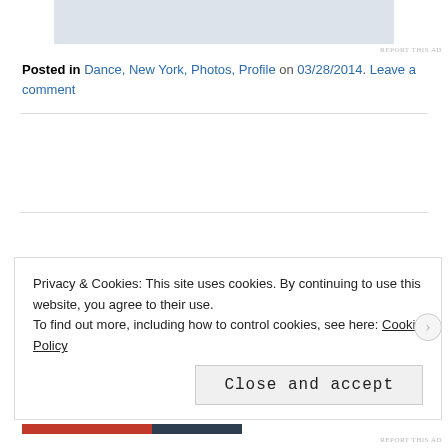[Figure (photo): Partially visible image placeholder at the top of the page]
REPORT THIS AD
Posted in Dance, New York, Photos, Profile on 03/28/2014. Leave a comment
[Figure (other): Advertisement block area (blank)]
[Figure (other): Advertisement block area (blank)]
Search …
Privacy & Cookies: This site uses cookies. By continuing to use this website, you agree to their use.
To find out more, including how to control cookies, see here: Cookie Policy
Close and accept
REPORT THIS AD